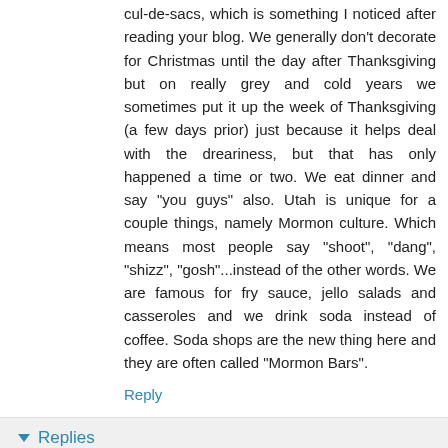cul-de-sacs, which is something I noticed after reading your blog. We generally don't decorate for Christmas until the day after Thanksgiving but on really grey and cold years we sometimes put it up the week of Thanksgiving (a few days prior) just because it helps deal with the dreariness, but that has only happened a time or two. We eat dinner and say "you guys" also. Utah is unique for a couple things, namely Mormon culture. Which means most people say "shoot", "dang", "shizz", "gosh"...instead of the other words. We are famous for fry sauce, jello salads and casseroles and we drink soda instead of coffee. Soda shops are the new thing here and they are often called "Mormon Bars".
Reply
Replies
Denise Wednesday, November 18, 2015 8:00:00 PM
Oh! I forgot about the baby bows and flowers. It has gotten better in recent years, but generally bows and flowers are the size of a babies head. It's a horrible, horrible trend that I hope goes